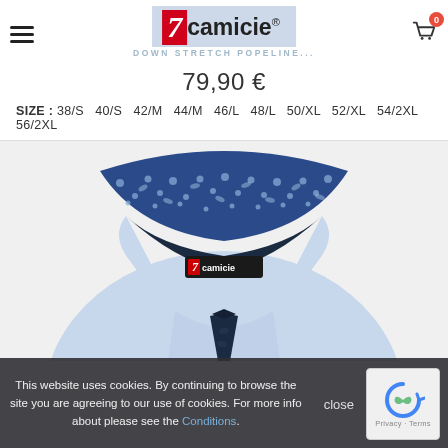[Figure (logo): 7camicie brand logo with red number 7 and text camicie with registered trademark symbol, on light blue background, with subtitle DOWN STRETCH POPELINE...]
79,90 €
SIZE : 38/S 40/S 42/M 44/M 46/L 48/L 50/XL 52/XL 54/2XL 56/2XL
[Figure (photo): Close-up photo of a light blue dress shirt with a patterned blue and white floral/geometric collar lining, dark navy inner collar, 7camicie label visible, with a dark tie below]
This website uses cookies. By continuing to browse the site you are agreeing to our use of cookies. For more info about please see the Conditions.